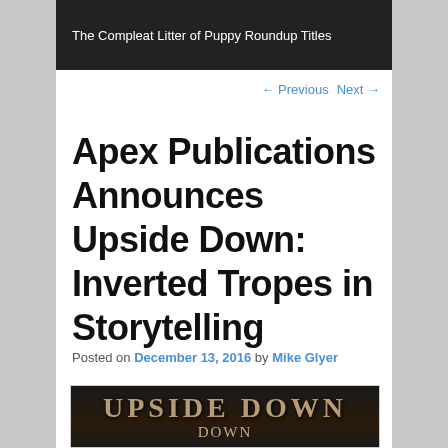The Compleat Litter of Puppy Roundup Titles
← Previous   Next →
Apex Publications Announces Upside Down: Inverted Tropes in Storytelling
Posted on December 13, 2016 by Mike Glyer
[Figure (photo): Book cover image showing the text 'Upside Down' in stylized lettering on a dark background]